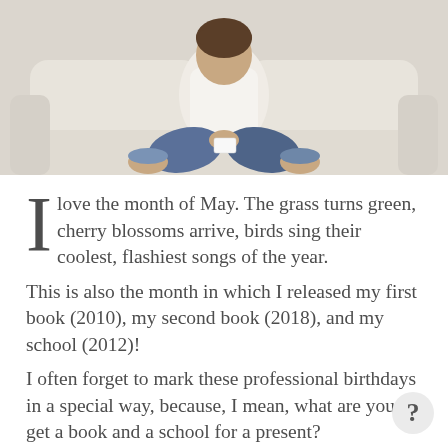[Figure (photo): Person sitting cross-legged on a cream/beige sofa, wearing jeans and a white shirt, holding a small card or paper. Shot from mid-body down, light airy background.]
I love the month of May. The grass turns green, cherry blossoms arrive, birds sing their coolest, flashiest songs of the year.
This is also the month in which I released my first book (2010), my second book (2018), and my school (2012)!
I often forget to mark these professional birthdays in a special way, because, I mean, what are you to get a book and a school for a present?